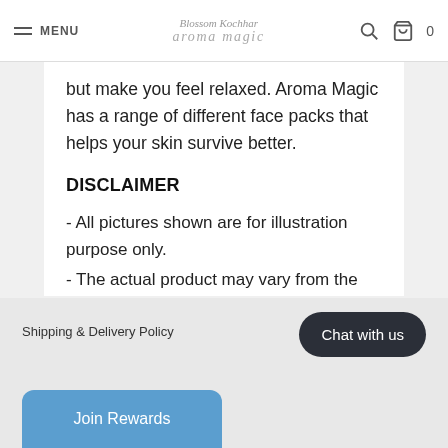MENU | Blossom Kochhar aroma magic | 0
but make you feel relaxed. Aroma Magic has a range of different face packs that helps your skin survive better.
DISCLAIMER
- All pictures shown are for illustration purpose only.
- The actual product may vary from the images shown on the website due to regular updates and guidelines.
Shipping & Delivery Policy | Chat with us | Join Rewards